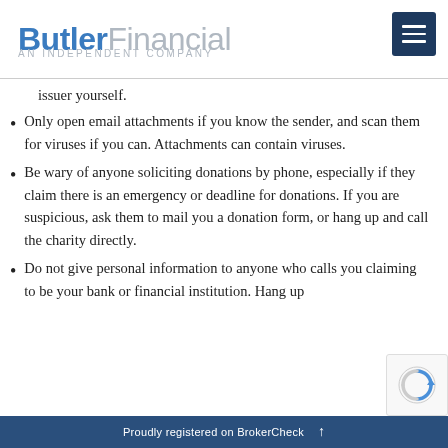ButlerFinancial — AN INDEPENDENT COMPANY
issuer yourself.
Only open email attachments if you know the sender, and scan them for viruses if you can. Attachments can contain viruses.
Be wary of anyone soliciting donations by phone, especially if they claim there is an emergency or deadline for donations. If you are suspicious, ask them to mail you a donation form, or hang up and call the charity directly.
Do not give personal information to anyone who calls you claiming to be your bank or financial institution. Hang up
Proudly registered on BrokerCheck